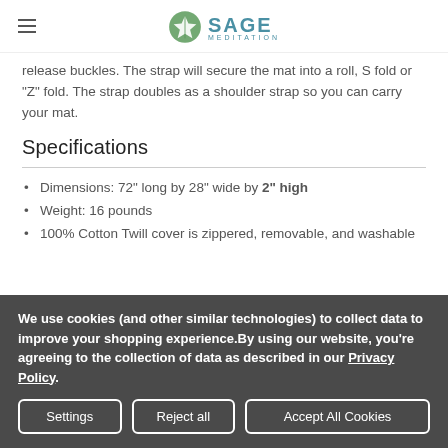SAGE MEDITATION
release buckles. The strap will secure the mat into a roll, S fold or "Z" fold. The strap doubles as a shoulder strap so you can carry your mat.
Specifications
Dimensions: 72" long by 28" wide by 2" high
Weight: 16 pounds
100% Cotton Twill cover is zippered, removable, and washable
We use cookies (and other similar technologies) to collect data to improve your shopping experience. By using our website, you're agreeing to the collection of data as described in our Privacy Policy.